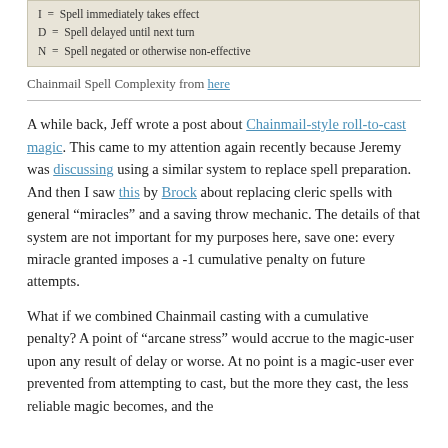[Figure (table-as-image): Legend box with tan/beige background showing spell result codes: I = Spell immediately takes effect, D = Spell delayed until next turn, N = Spell negated or otherwise non-effective]
Chainmail Spell Complexity from here
A while back, Jeff wrote a post about Chainmail-style roll-to-cast magic. This came to my attention again recently because Jeremy was discussing using a similar system to replace spell preparation. And then I saw this by Brock about replacing cleric spells with general “miracles” and a saving throw mechanic. The details of that system are not important for my purposes here, save one: every miracle granted imposes a -1 cumulative penalty on future attempts.
What if we combined Chainmail casting with a cumulative penalty? A point of “arcane stress” would accrue to the magic-user upon any result of delay or worse. At no point is a magic-user ever prevented from attempting to cast, but the more they cast, the less reliable magic becomes, and the